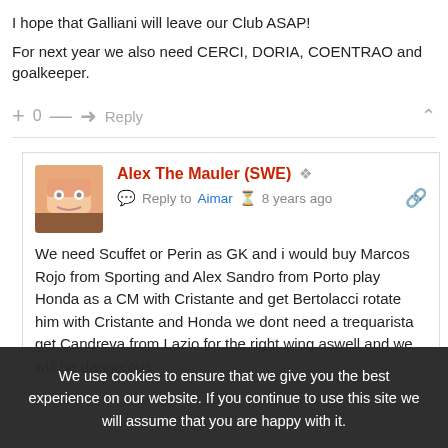I hope that Galliani will leave our Club ASAP!
For next year we also need CERCI, DORIA, COENTRAO and goalkeeper.
Alex The Mauler (SWE) · Reply to Aimar · 8 years ago
We need Scuffet or Perin as GK and i would buy Marcos Rojo from Sporting and Alex Sandro from Porto play Honda as a CM with Cristante and get Bertolacci rotate him with Cristante and Honda we dont need a trequarista get Candreva from Lazio for the right wing aswell and we will be dangerous
We use cookies to ensure that we give you the best experience on our website. If you continue to use this site we will assume that you are happy with it.